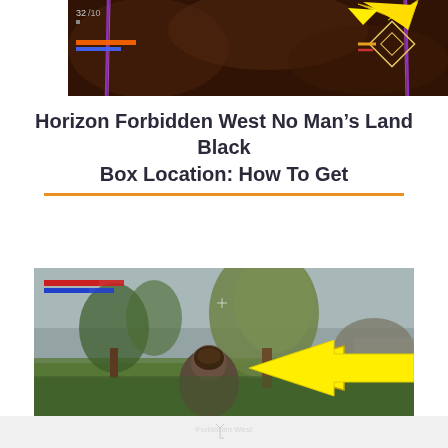[Figure (screenshot): Horizon Forbidden West gameplay screenshot showing a dark cave-like environment with purple lightning effects, HUD elements visible, and a yellow arrow pointing toward the upper right]
Horizon Forbidden West No Man's Land Black Box Location: How To Get
[Figure (screenshot): Horizon Forbidden West gameplay screenshot showing an outdoor misty landscape with trees and grass, character visible from behind, with a large yellow arrow pointing left toward a rocky area]
[Figure (screenshot): Partially visible watermark/logo area at the bottom of the page]